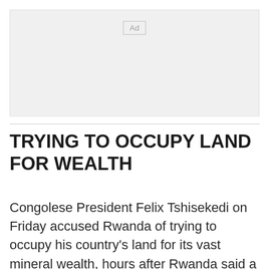[Figure (other): Advertisement placeholder box with 'Ad' label]
TRYING TO OCCUPY LAND FOR WEALTH
Congolese President Felix Tshisekedi on Friday accused Rwanda of trying to occupy his country's land for its vast mineral wealth, hours after Rwanda said a Congolese soldier had crossed the border and begun shooting at Rwandan security forces and civilians